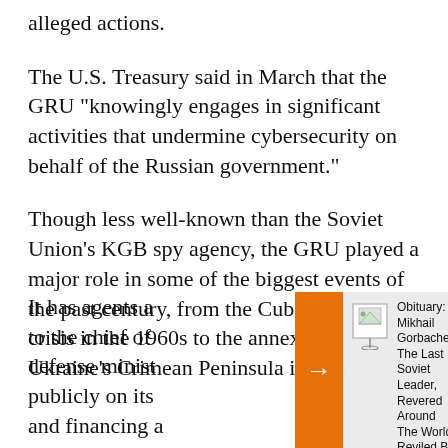alleged actions.
The U.S. Treasury said in March that the GRU "knowingly engages in significant activities that undermine cybersecurity on behalf of the Russian government."
Though less well-known than the Soviet Union's KGB spy agency, the GRU played a major role in some of the biggest events of the past century, from the Cuban missile crisis in the 1960s to the annexation of Ukraine's Crimean Peninsula in 2014.
It has agents a... to the chief of... defense minist... publicly on its... and financing a...
[Figure (other): Navigation overlay widget with orange arrow bar and sidebar showing article link: 'Obituary: Mikhail Gorbachev, The Last Soviet Leader, Revered Around The World, Reviled By Many At Home' with a broken image placeholder.]